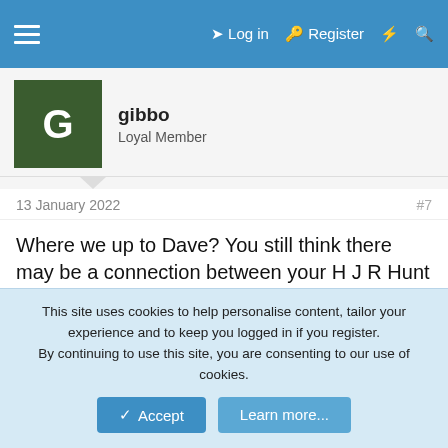≡  Log in   Register  ⚡  🔍
[Figure (illustration): Green square avatar with letter G for user gibbo]
gibbo
Loyal Member
13 January 2022	#7
Where we up to Dave? You still think there may be a connection between your H J R Hunt and Ellen Bennett?
[Figure (illustration): Pixel art avatar of a person at a computer for user DaveHam9]
DaveHam9
Loyal Member  Staff member  Moderator
13 January 2022	#8
Not that important gibbo. A long way off a main line. We have 2x
This site uses cookies to help personalise content, tailor your experience and to keep you logged in if you register.
By continuing to use this site, you are consenting to our use of cookies.
Accept  Learn more...